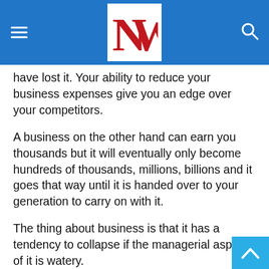NW (logo)
have lost it. Your ability to reduce your business expenses give you an edge over your competitors.
A business on the other hand can earn you thousands but it will eventually only become hundreds of thousands, millions, billions and it goes that way until it is handed over to your generation to carry on with it.
The thing about business is that it has a tendency to collapse if the managerial aspect of it is watery.
These managerial aspect deals mostly with the financing. Every businessman wishes to maximize profit by spending less and gaining more and that is the essence of this admonition.